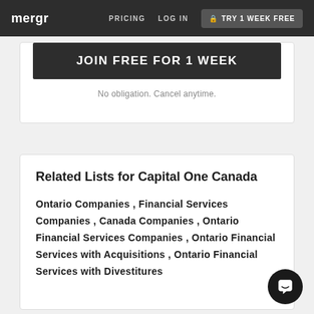mergr   PRICING   LOG IN   TRY 1 WEEK FREE
JOIN FREE FOR 1 WEEK
No obligation. Cancel anytime.
Related Lists for Capital One Canada
Ontario Companies , Financial Services Companies , Canada Companies , Ontario Financial Services Companies , Ontario Financial Services with Acquisitions , Ontario Financial Services with Divestitures